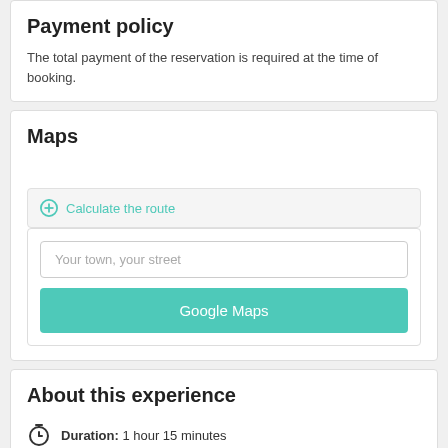Payment policy
The total payment of the reservation is required at the time of booking.
Maps
Calculate the route
Your town, your street
Google Maps
About this experience
Duration:  1 hour 15 minutes